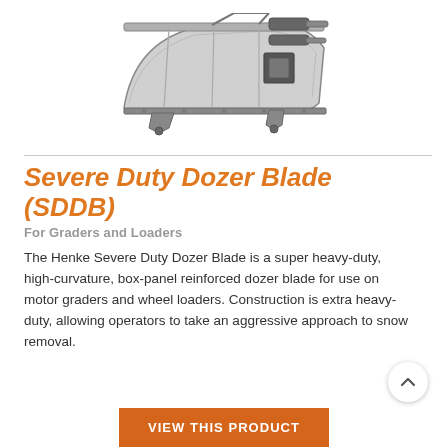[Figure (illustration): Engineering illustration / render of the Henke Severe Duty Dozer Blade (SDDB) — a large curved dozer blade with box-panel reinforcement, mounting hardware, and hydraulic components, shown in a 3/4 perspective view on a white background.]
Severe Duty Dozer Blade (SDDB)
For Graders and Loaders
The Henke Severe Duty Dozer Blade is a super heavy-duty, high-curvature, box-panel reinforced dozer blade for use on motor graders and wheel loaders. Construction is extra heavy-duty, allowing operators to take an aggressive approach to snow removal.
VIEW THIS PRODUCT